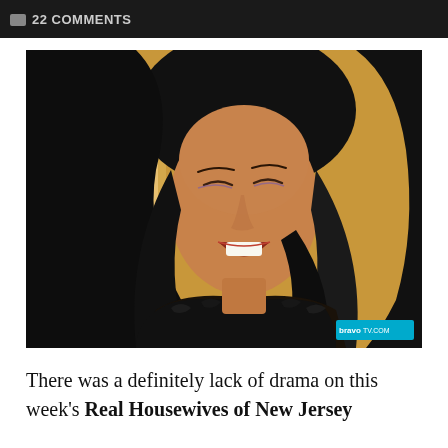22 COMMENTS
[Figure (photo): A woman with long dark hair laughing with eyes closed, wearing a dark fur-trimmed outfit, in a warmly lit room. Bravo TV watermark in bottom right corner.]
There was a definitely lack of drama on this week's Real Housewives of New Jersey